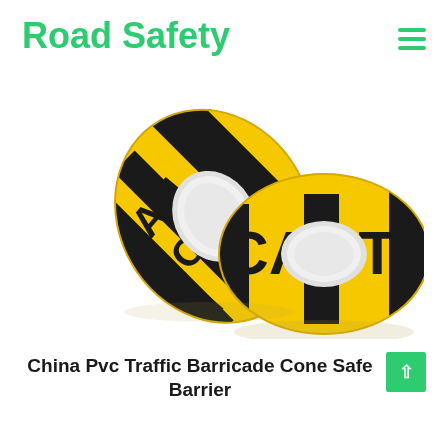Road Safety
[Figure (photo): Two rolls of yellow and black CAUTION warning/barricade tape, displayed on a white background. The tape rolls are cylindrical with white cores visible, and the word CAUTION is printed in bold black letters on the yellow tape.]
China Pvc Traffic Barricade Cone Safety Barrier